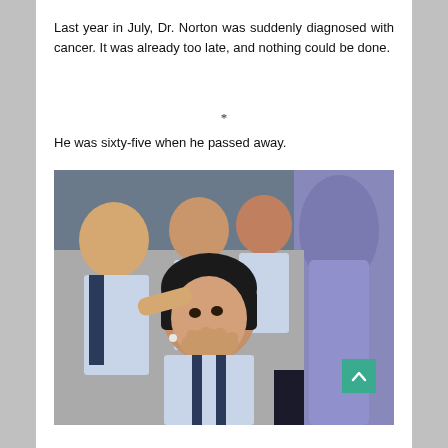Last year in July, Dr. Norton was suddenly diagnosed with cancer. It was already too late, and nothing could be done.
*
He was sixty-five when he passed away.
[Figure (photo): Group of young Asian school children in white uniforms, a girl in the foreground resting her chin on her hand looking pensive, with an adult in a light purple dress visible on the right side.]